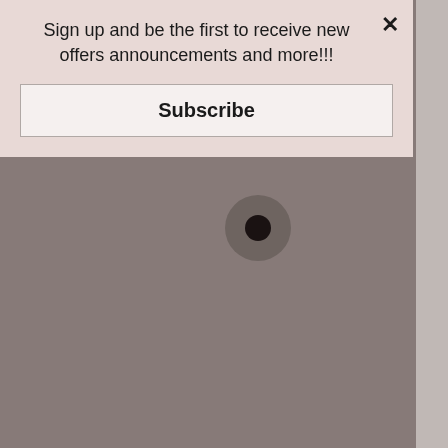Sign up and be the first to receive new offers announcements and more!!!
Subscribe
[Figure (photo): A muted brownish-gray background photo, likely of a camera or similar device, with a visible circular lens element in the center-left area of the image.]